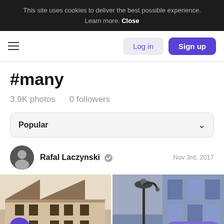This site uses cookies to deliver the best possible experience. Learn more. Close
☰  Log in  Sign up
#many
3.9K photos   0 followers
Popular ▾
Rafal Laczynski ✓   Nov 3rd, 2017
[Figure (photo): Split view of two photos: left shows sepia/grayscale European architecture with sloped roofs; right shows a street lamp and blue-tinted building facade]
Need Help?